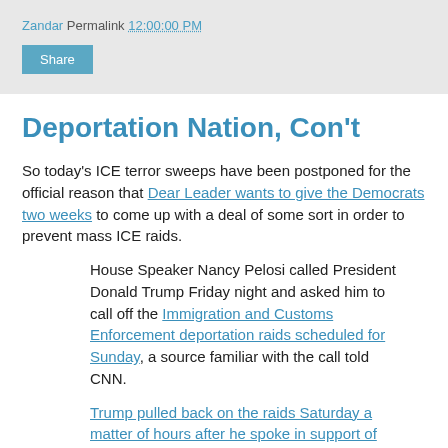Zandar Permalink 12:00:00 PM
Deportation Nation, Con't
So today's ICE terror sweeps have been postponed for the official reason that Dear Leader wants to give the Democrats two weeks to come up with a deal of some sort in order to prevent mass ICE raids.
House Speaker Nancy Pelosi called President Donald Trump Friday night and asked him to call off the Immigration and Customs Enforcement deportation raids scheduled for Sunday, a source familiar with the call told CNN.
Trump pulled back on the raids Saturday a matter of hours after he spoke in support of the